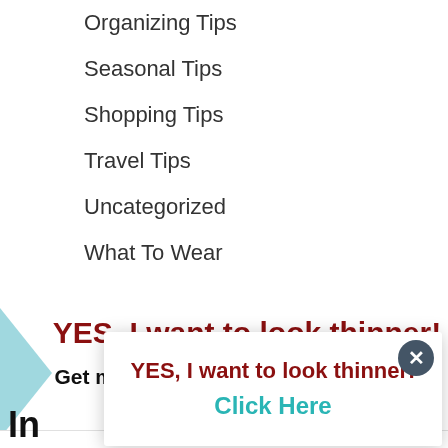Organizing Tips
Seasonal Tips
Shopping Tips
Travel Tips
Uncategorized
What To Wear
YES, I want to look thinner!
Get my free checklist to Instantly Look 10lbs Thinner!.
[gravityform id=3 title=false description=false ajax=true]
In
[Figure (screenshot): Popup modal with 'YES, I want to look thinner!' in dark red bold text and 'Click Here' in teal bold text, with a blue close button (x) in the top right corner.]